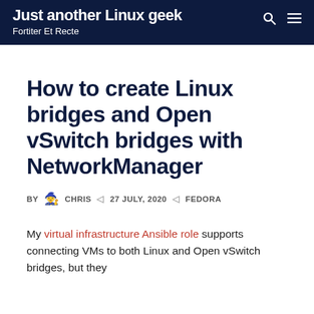Just another Linux geek — Fortiter Et Recte
How to create Linux bridges and Open vSwitch bridges with NetworkManager
BY CHRIS | 27 JULY, 2020 | FEDORA
My virtual infrastructure Ansible role supports connecting VMs to both Linux and Open vSwitch bridges, but they